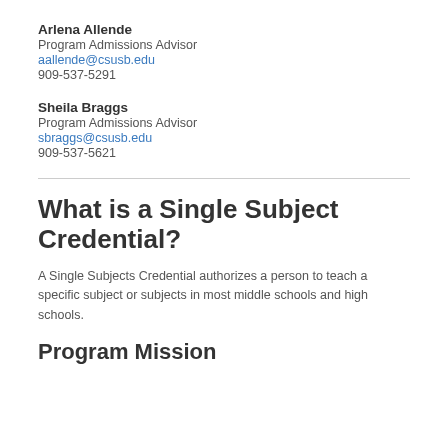Arlena Allende
Program Admissions Advisor
aallende@csusb.edu
909-537-5291
Sheila Braggs
Program Admissions Advisor
sbraggs@csusb.edu
909-537-5621
What is a Single Subject Credential?
A Single Subjects Credential authorizes a person to teach a specific subject or subjects in most middle schools and high schools.
Program Mission